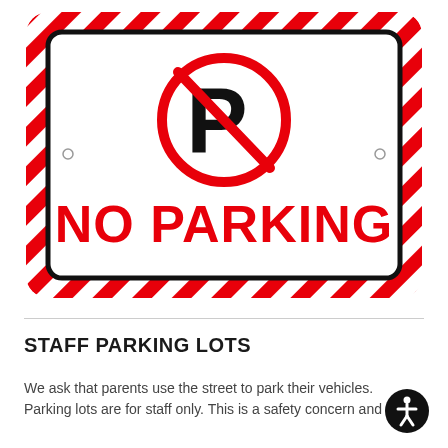[Figure (illustration): A No Parking sign with red and white diagonal stripes border, a white inner rectangle with black border, a red circle with diagonal slash over a black letter P, and bold red text reading NO PARKING.]
STAFF PARKING LOTS
We ask that parents use the street to park their vehicles. Parking lots are for staff only. This is a safety concern and